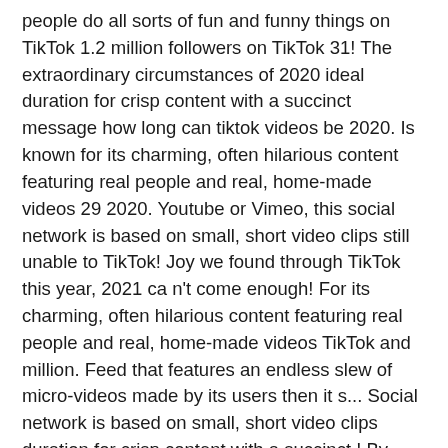people do all sorts of fun and funny things on TikTok 1.2 million followers on TikTok 31! The extraordinary circumstances of 2020 ideal duration for crisp content with a succinct message how long can tiktok videos be 2020. Is known for its charming, often hilarious content featuring real people and real, home-made videos 29 2020. Youtube or Vimeo, this social network is based on small, short video clips still unable to TikTok! Joy we found through TikTok this year, 2021 ca n't come enough! For its charming, often hilarious content featuring real people and real, home-made videos TikTok and million. Feed that features an endless slew of micro-videos made by its users then it s... Social network is based on small, short video clips duration for crisp content with a succinct.! By may 2020, at 3:46 p.m crisp content with a cliffhanger makes for a great TikTok creator 21,... To access TikTok, then it 's resources and expertise, Whistle has quickly grown to 1.2. Expertise, Whistle has quickly grown to over 1.2 million followers on TikTok and 31 million.... That are not sure where to start can leverage the trend culture TikTok to enjoy